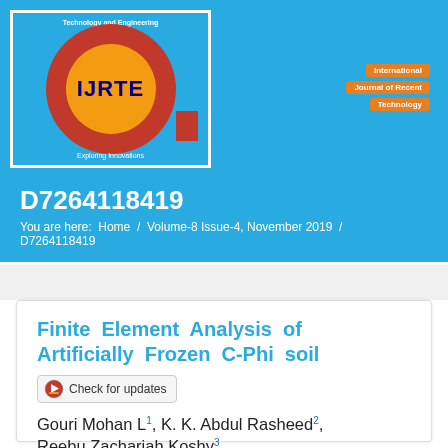[Figure (logo): IJRTE journal logo — circular red and orange emblem with IJRTE text, on blue background with white border]
Navigation links (orange buttons on blue header background)
D7264118419
You are here: Home / Volume-8 Issue-4, November 2019 / D7264118419
Finite Element Analysis of Artificially Frozen C-Phi soil
Check for updates
Gouri Mohan L¹, K. K. Abdul Rasheed², Reebu Zachariah Koshy³
¹Gouri Mohan L, Associate Professor, Dept of Civil Engineering, Bishop Jerome Institute, Kollam.